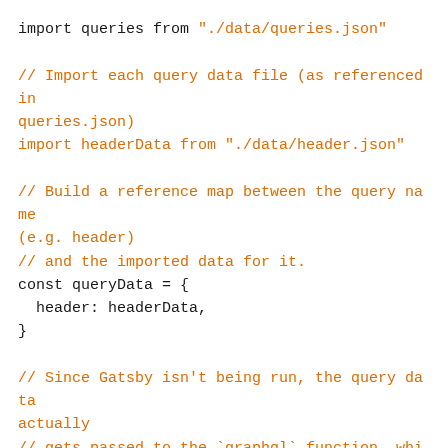import queries from "./data/queries.json"

// Import each query data file (as referenced in queries.json)
import headerData from "./data/header.json"

// Build a reference map between the query name (e.g. header)
// and the imported data for it.
const queryData = {
  header: headerData,
}

// Since Gatsby isn't being run, the query data actually
// gets passed to the `graphql` function, which allows us
// to compute its hash similar to how Gatsby does. The
// return value ends up being passed to `useStaticQuery`.
export const graphql = query =>
hashQuery(query.raw[0])

// It also assigns the data to...